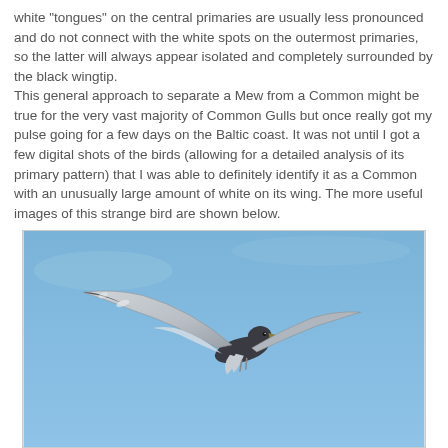white "tongues" on the central primaries are usually less pronounced and do not connect with the white spots on the outermost primaries, so the latter will always appear isolated and completely surrounded by the black wingtip. This general approach to separate a Mew from a Common might be true for the very vast majority of Common Gulls but once really got my pulse going for a few days on the Baltic coast. It was not until I got a few digital shots of the birds (allowing for a detailed analysis of its primary pattern) that I was able to definitely identify it as a Common with an unusually large amount of white on its wing. The more useful images of this strange bird are shown below.
[Figure (photo): A gull photographed in flight against a blue sky, wings partially visible from below/side angle, showing wing pattern details.]